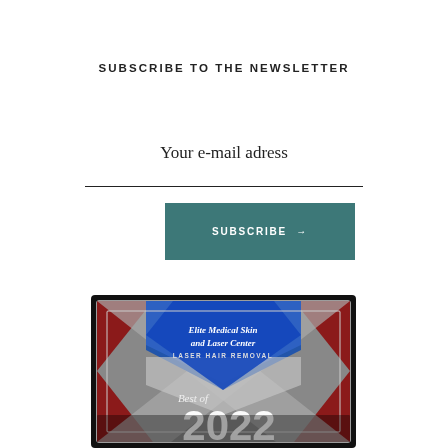SUBSCRIBE TO THE NEWSLETTER
Your e-mail adress
SUBSCRIBE →
[Figure (photo): Award plaque for Elite Medical Skin and Laser Center - Laser Hair Removal, Best of 2022]